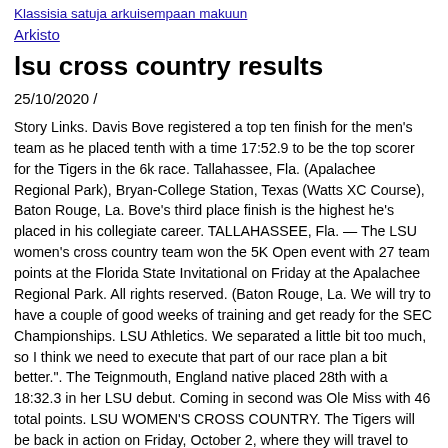Klassisia satuja arkuisempaan makuun
Arkisto
lsu cross country results
25/10/2020 /
Story Links. Davis Bove registered a top ten finish for the men's team as he placed tenth with a time 17:52.9 to be the top scorer for the Tigers in the 6k race. Tallahassee, Fla. (Apalachee Regional Park), Bryan-College Station, Texas (Watts XC Course), Baton Rouge, La. Bove's third place finish is the highest he's placed in his collegiate career. TALLAHASSEE, Fla. — The LSU women's cross country team won the 5K Open event with 27 team points at the Florida State Invitational on Friday at the Apalachee Regional Park. All rights reserved. (Baton Rouge, La. We will try to have a couple of good weeks of training and get ready for the SEC Championships. LSU Athletics. We separated a little bit too much, so I think we need to execute that part of our race plan a bit better.". The Teignmouth, England native placed 28th with a 18:32.3 in her LSU debut. Coming in second was Ole Miss with 46 total points. LSU WOMEN'S CROSS COUNTRY. The Tigers will be back in action on Friday, October 2, where they will travel to